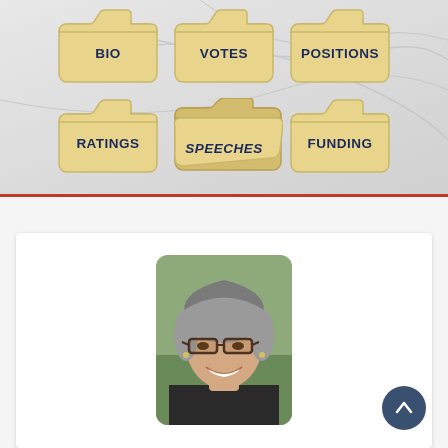[Figure (infographic): Navigation menu with folder icons for BIO, VOTES, POSITIONS, RATINGS, SPEECHES (open folder), and FUNDING categories arranged in two rows against a light grey decorative background]
[Figure (photo): Portrait photo of a middle-aged woman with grey-streaked hair pulled back, wearing glasses and smiling, with a blurred outdoor background]